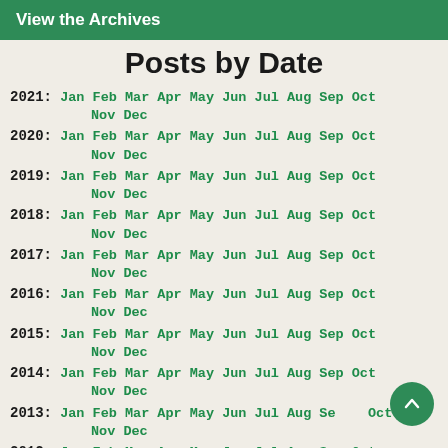View the Archives
Posts by Date
2021: Jan Feb Mar Apr May Jun Jul Aug Sep Oct Nov Dec
2020: Jan Feb Mar Apr May Jun Jul Aug Sep Oct Nov Dec
2019: Jan Feb Mar Apr May Jun Jul Aug Sep Oct Nov Dec
2018: Jan Feb Mar Apr May Jun Jul Aug Sep Oct Nov Dec
2017: Jan Feb Mar Apr May Jun Jul Aug Sep Oct Nov Dec
2016: Jan Feb Mar Apr May Jun Jul Aug Sep Oct Nov Dec
2015: Jan Feb Mar Apr May Jun Jul Aug Sep Oct Nov Dec
2014: Jan Feb Mar Apr May Jun Jul Aug Sep Oct Nov Dec
2013: Jan Feb Mar Apr May Jun Jul Aug Sep Oct Nov Dec
2012: Jan Feb Mar Apr May Jun Jul Aug Sep Oct